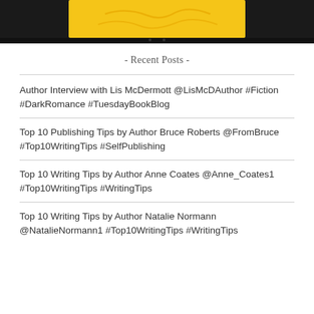[Figure (illustration): Top portion of a tablet/e-reader device showing a yellow book cover with decorative script elements on a dark background]
- Recent Posts -
Author Interview with Lis McDermott @LisMcDAuthor #Fiction #DarkRomance #TuesdayBookBlog
Top 10 Publishing Tips by Author Bruce Roberts @FromBruce #Top10WritingTips #SelfPublishing
Top 10 Writing Tips by Author Anne Coates @Anne_Coates1 #Top10WritingTips #WritingTips
Top 10 Writing Tips by Author Natalie Normann @NatalieNormann1 #Top10WritingTips #WritingTips